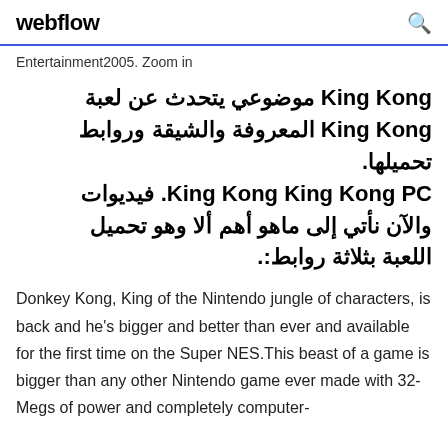webflow
Entertainment2005. Zoom in
King Kong موضوعي يتحدث عن لعبة King Kong المعروفة والشيقة وروابط تحميلها. فيديوات King Kong King Kong PC. والآن نأتي إلى ماهو أهم ألا وهو تحميل اللعبة بثلاثة روابط:.
Donkey Kong, King of the Nintendo jungle of characters, is back and he's bigger and better than ever and available for the first time on the Super NES.This beast of a game is bigger than any other Nintendo game ever made with 32-Megs of power and completely computer-